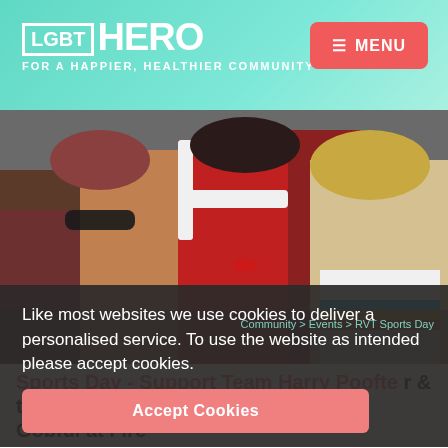LGBT HERO - FOR A HAPPIER, HEALTHIER COMMUNITY | MENU
[Figure (photo): Group of people in colorful outfits at what appears to be an outdoor event or pride celebration. A person in a red Santa-style outfit with white fur trim is prominent in the center, alongside a person with blonde hair wearing a rainbow-striped shirt.]
Like most websites we use cookies to deliver a personalised service. To use the website as intended please accept cookies.
Accept Cookies
Community > Events > RVT Sports Day
Sports Day - Support Team Harry Poofte r& the Gobful at Fire